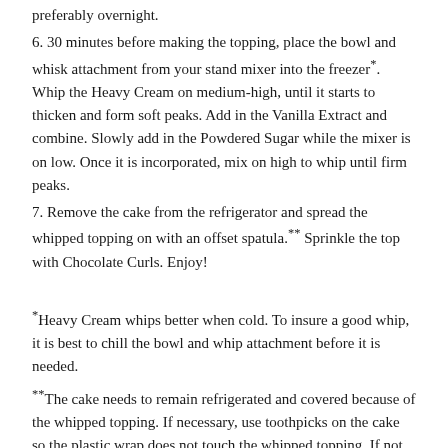preferably overnight.
6. 30 minutes before making the topping, place the bowl and whisk attachment from your stand mixer into the freezer*. Whip the Heavy Cream on medium-high, until it starts to thicken and form soft peaks. Add in the Vanilla Extract and combine. Slowly add in the Powdered Sugar while the mixer is on low. Once it is incorporated, mix on high to whip until firm peaks.
7. Remove the cake from the refrigerator and spread the whipped topping on with an offset spatula.** Sprinkle the top with Chocolate Curls. Enjoy!
*Heavy Cream whips better when cold. To insure a good whip, it is best to chill the bowl and whip attachment before it is needed.
**The cake needs to remain refrigerated and covered because of the whipped topping. If necessary, use toothpicks on the cake so the plastic wrap does not touch the whipped topping. If not serving immediately, store in the refrigerator and do not put the Chocolate Curls on until right before serving.